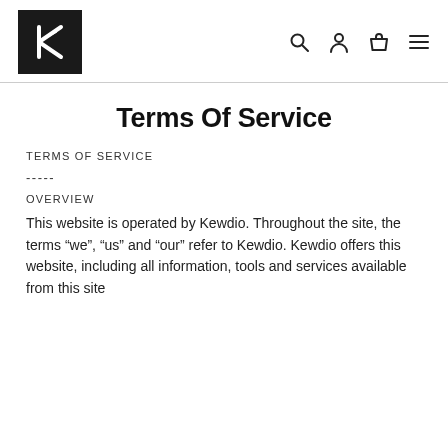Kewdio logo and navigation icons
Terms Of Service
TERMS OF SERVICE
-----
OVERVIEW
This website is operated by Kewdio. Throughout the site, the terms “we”, “us” and “our” refer to Kewdio. Kewdio offers this website, including all information, tools and services available from this site